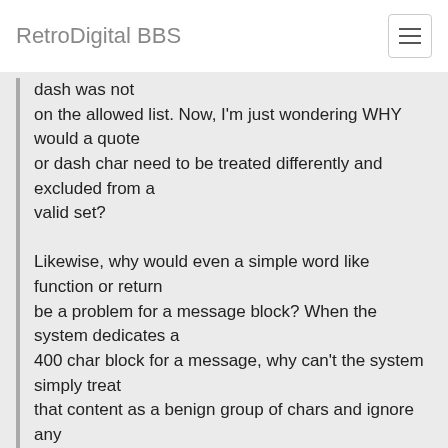RetroDigital BBS
dash was not
on the allowed list. Now, I'm just wondering WHY would a quote
or dash char need to be treated differently and excluded from a
valid set?

Likewise, why would even a simple word like function or return
be a problem for a message block? When the system dedicates a
400 char block for a message, why can't the system simply treat
that content as a benign group of chars and ignore any
"functionality" implied with http: https: or www, etc?
I suspect it's a standard the banks involved agreed about for this message. It's handled by all kinds of systems at